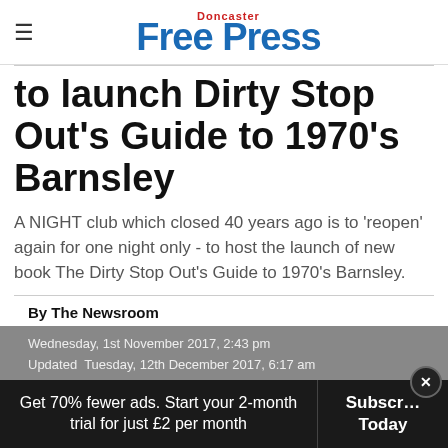Doncaster Free Press
to launch Dirty Stop Out's Guide to 1970's Barnsley
A NIGHT club which closed 40 years ago is to 'reopen' again for one night only - to host the launch of new book The Dirty Stop Out's Guide to 1970's Barnsley.
By The Newsroom
Wednesday, 1st November 2017, 2:43 pm
Updated  Tuesday, 12th December 2017, 6:17 am
Get 70% fewer ads. Start your 2-month trial for just £2 per month  Subscribe Today